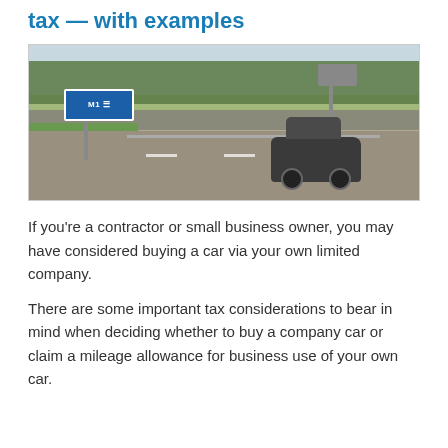tax — with examples
[Figure (photo): A dark SUV driving on a UK road near an M1 motorway sign, with trees and a speed camera in the background.]
If you're a contractor or small business owner, you may have considered buying a car via your own limited company.
There are some important tax considerations to bear in mind when deciding whether to buy a company car or claim a mileage allowance for business use of your own car.